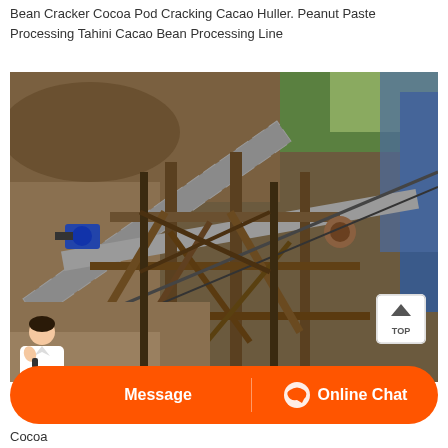Bean Cracker Cocoa Pod Cracking Cacao Huller. Peanut Paste Processing Tahini Cacao Bean Processing Line
[Figure (photo): Industrial conveyor belt machinery at a construction or processing site, showing large metal framework, conveyor belts, motors, and earth/soil in the background. A 'TOP' navigation button is visible in the bottom-right corner of the image.]
Message   Online Chat
Cocoa